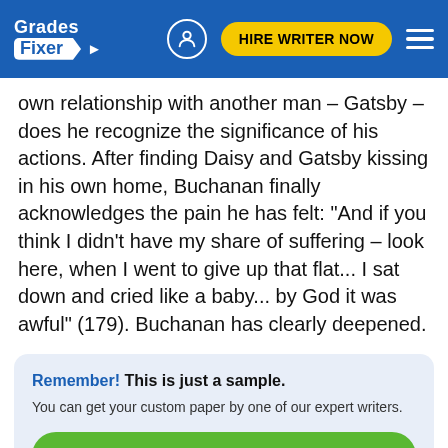Grades Fixer | HIRE WRITER NOW
own relationship with another man – Gatsby – does he recognize the significance of his actions. After finding Daisy and Gatsby kissing in his own home, Buchanan finally acknowledges the pain he has felt: "And if you think I didn't have my share of suffering – look here, when I went to give up that flat... I sat down and cried like a baby... by God it was awful" (179). Buchanan has clearly deepened.
Remember! This is just a sample.
You can get your custom paper by one of our expert writers.
GET CUSTOM ESSAY
121 writers online